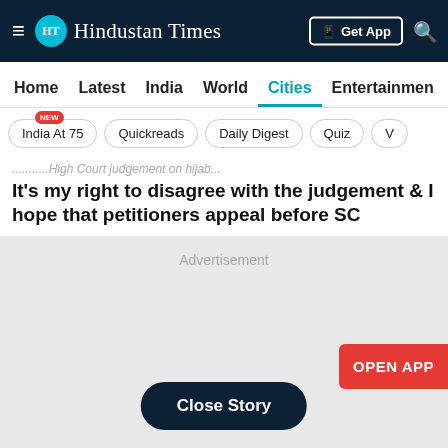Hindustan Times — Get App
Home | Latest | India | World | Cities | Entertainment
India At 75 (NEW) | Quickreads | Daily Digest | Quiz
It's my right to disagree with the judgement & I hope that petitioners appeal before SC
[Figure (other): Advertisement placeholder with Close Story button and Open App button]
Advertisement
Close Story
OPEN APP